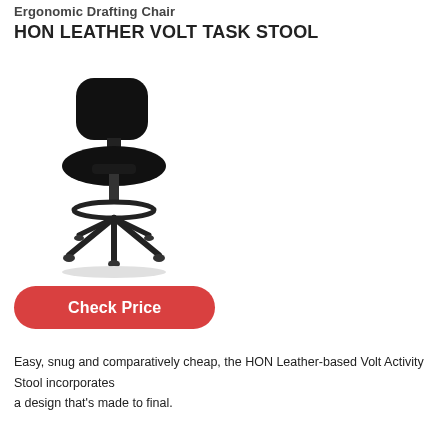Ergonomic Drafting Chair
HON LEATHER VOLT TASK STOOL
[Figure (photo): Black ergonomic drafting stool with leather seat and back, adjustable height, footrest ring, and five-star wheeled base]
Check Price
Easy, snug and comparatively cheap, the HON Leather-based Volt Activity Stool incorporates a design that's made to final.